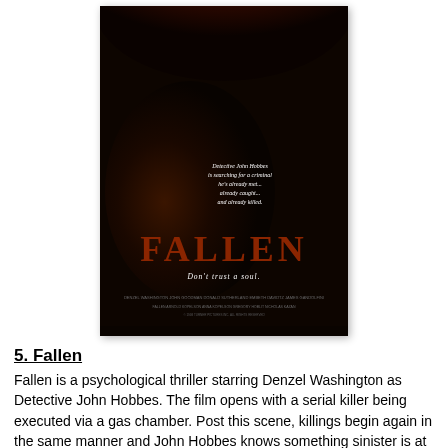[Figure (photo): Movie poster for 'Fallen' (1998) featuring a dark background with fiery red-orange tones at the top, a shadowed face profile on the left, white italic text reading 'Detective John Hobbes is searching for a criminal he's already met... already caught... and already killed.' on the right, the movie title 'FALLEN' in large red letters, the tagline 'Don't trust a soul.' in white, and film credits at the bottom.]
5. Fallen
Fallen is a psychological thriller starring Denzel Washington as Detective John Hobbes. The film opens with a serial killer being executed via a gas chamber. Post this scene, killings begin again in the same manner and John Hobbes knows something sinister is at